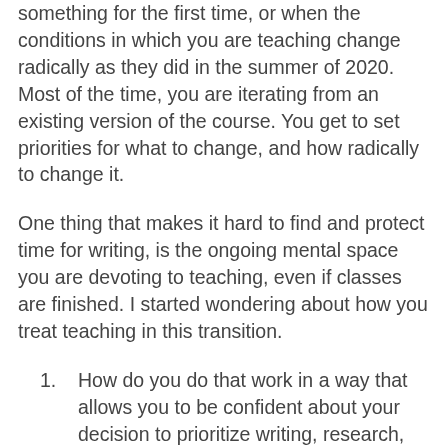something for the first time, or when the conditions in which you are teaching change radically as they did in the summer of 2020. Most of the time, you are iterating from an existing version of the course. You get to set priorities for what to change, and how radically to change it.
One thing that makes it hard to find and protect time for writing, is the ongoing mental space you are devoting to teaching, even if classes are finished. I started wondering about how you treat teaching in this transition.
How do you do that work in a way that allows you to be confident about your decision to prioritize writing, research, and rest over the summer break?